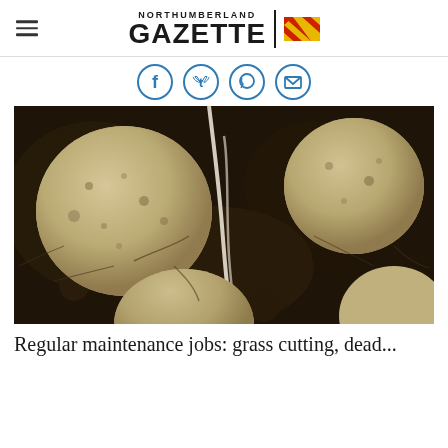NORTHUMBERLAND GAZETTE
[Figure (other): Social media share icons: Facebook, Twitter, WhatsApp, Email]
[Figure (photo): Close-up photograph of potatoes freshly dug from dark soil, showing root vegetables with roots and dirt attached]
Regular maintenance jobs: grass cutting, dead...